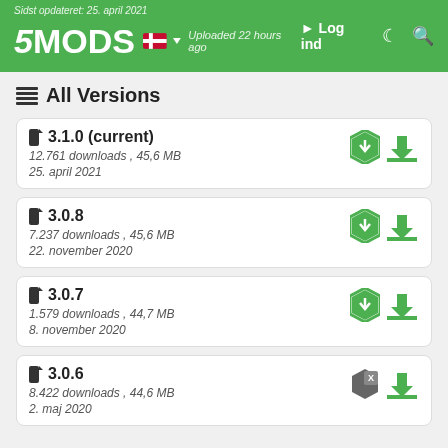5MODS - Sidst opdateret: 25. april 2021 - Log ind
All Versions
3.1.0 (current) — 12.761 downloads , 45,6 MB — 25. april 2021
3.0.8 — 7.237 downloads , 45,6 MB — 22. november 2020
3.0.7 — 1.579 downloads , 44,7 MB — 8. november 2020
3.0.6 — 8.422 downloads , 44,6 MB — 2. maj 2020